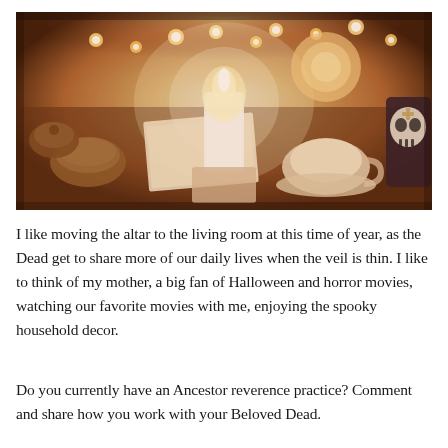[Figure (photo): A warm amber-toned photograph taken from above of an altar/table scene with candles, including a large glowing white pillar candle in the center, string lights, various bowls and vessels, a teacup on a saucer, a document or paper, and a sugar skull decoration on the right side. The overall tone is orange-warm and intimate.]
I like moving the altar to the living room at this time of year, as the Dead get to share more of our daily lives when the veil is thin. I like to think of my mother, a big fan of Halloween and horror movies, watching our favorite movies with me, enjoying the spooky household decor.
Do you currently have an Ancestor reverence practice? Comment and share how you work with your Beloved Dead.